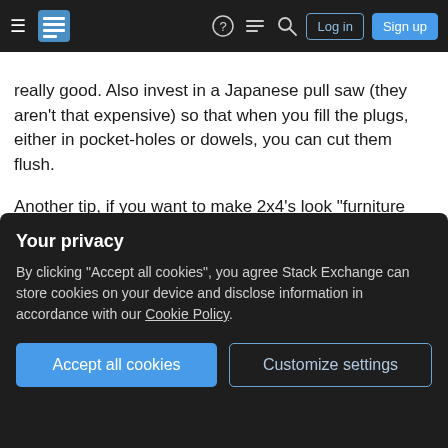Navigation bar with hamburger menu, logo, help, comments, search icons, Log in and Sign up buttons
really good. Also invest in a Japanese pull saw (they aren't that expensive) so that when you fill the plugs, either in pocket-holes or dowels, you can cut them flush.
Another tip, if you want to make 2x4's look "furniture quality", pick one without knots then cut each long edge on a table saw to take off the round-over, usually 1/8" or so will take it off.
Share
answered Apr 11, 2020 at 17:40
Your privacy
By clicking "Accept all cookies", you agree Stack Exchange can store cookies on your device and disclose information in accordance with our Cookie Policy.
Accept all cookies
Customize settings
tighten up" the whole thing should it ever become